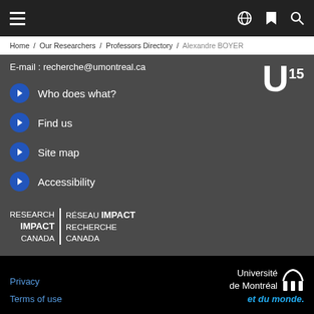Home / Our Researchers / Professors Directory / Alexandre BOYER
E-mail : recherche@umontreal.ca
Who does what?
Find us
Site map
Accessibility
[Figure (logo): U15 logo — white letter U with superscript 15]
[Figure (logo): Research Impact Canada / Réseau Impact Recherche Canada bilingual logo]
Privacy  Terms of use
[Figure (logo): Université de Montréal et du monde logo]